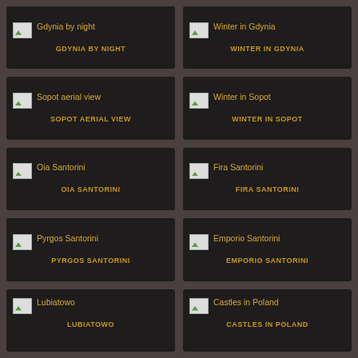[Figure (screenshot): Grid of photo gallery thumbnail cards with titles. Row 1: Gdynia by night, Winter in Gdynia. Row 2: Sopot aerial view, Winter in Sopot. Row 3: Oia Santorini, Fira Santorini. Row 4: Pyrgos Santorini, Emporio Santorini. Row 5 (partial): Lubiatowo, Castles in Poland.]